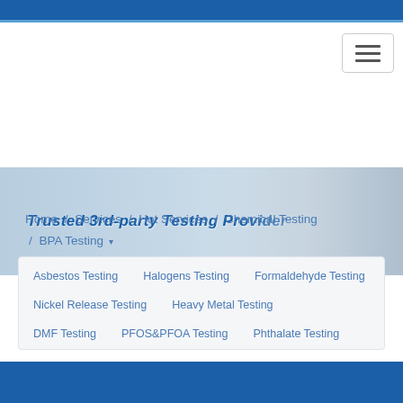[Figure (photo): Hero banner showing laboratory scene with text 'Trusted 3rd-party Testing Provider']
Home / Services / Hot Services / Chemical Testing / BPA Testing ▾
Asbestos Testing
Halogens Testing
Formaldehyde Testing
Nickel Release Testing
Heavy Metal Testing
DMF Testing
PFOS&PFOA Testing
Phthalate Testing